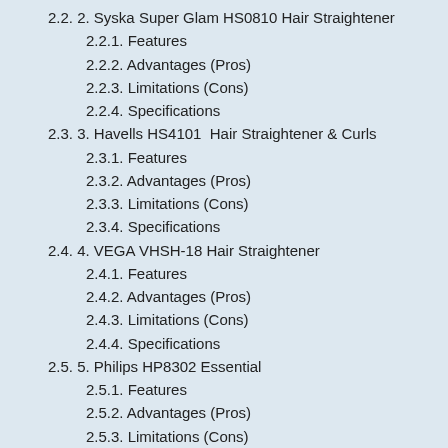2.2. 2. Syska Super Glam HS0810 Hair Straightener
2.2.1. Features
2.2.2. Advantages (Pros)
2.2.3. Limitations (Cons)
2.2.4. Specifications
2.3. 3. Havells HS4101  Hair Straightener & Curls
2.3.1. Features
2.3.2. Advantages (Pros)
2.3.3. Limitations (Cons)
2.3.4. Specifications
2.4. 4. VEGA VHSH-18 Hair Straightener
2.4.1. Features
2.4.2. Advantages (Pros)
2.4.3. Limitations (Cons)
2.4.4. Specifications
2.5. 5. Philips HP8302 Essential
2.5.1. Features
2.5.2. Advantages (Pros)
2.5.3. Limitations (Cons)
2.5.4. Specifications
3. Best Hair Straighteners Under Rs.2000 /-